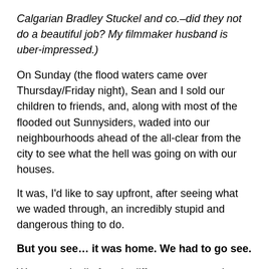Calgarian Bradley Stuckel and co.–did they not do a beautiful job? My filmmaker husband is uber-impressed.)
On Sunday (the flood waters came over Thursday/Friday night), Sean and I sold our children to friends, and, along with most of the flooded out Sunnysiders, waded into our neighbourhoods ahead of the all-clear from the city to see what the hell was going on with our houses.
It was, I'd like to say upfront, after seeing what we waded through, an incredibly stupid and dangerous thing to do.
But you see… it was home. We had to go see.
We reacted, all of us, in different ways to what we saw.
Sean went shopping for clean up and demolition supplies, and then to a community planning meeting.